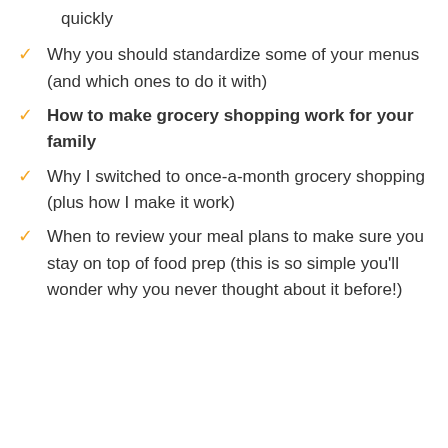quickly
Why you should standardize some of your menus (and which ones to do it with)
How to make grocery shopping work for your family
Why I switched to once-a-month grocery shopping (plus how I make it work)
When to review your meal plans to make sure you stay on top of food prep (this is so simple you'll wonder why you never thought about it before!)